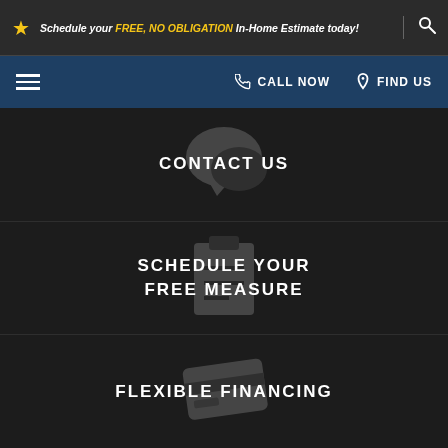Schedule your FREE, NO OBLIGATION In-Home Estimate today!
CALL NOW   FIND US
CONTACT US
SCHEDULE YOUR FREE MEASURE
FLEXIBLE FINANCING